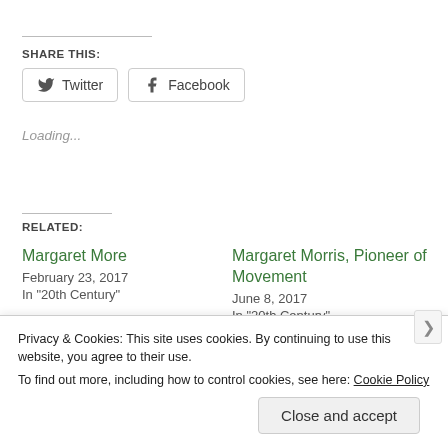SHARE THIS:
[Figure (screenshot): Social share buttons: Twitter and Facebook]
Loading...
RELATED:
Margaret More
February 23, 2017
In "20th Century"
Margaret Morris, Pioneer of Movement
June 8, 2017
In "20th Century"
Privacy & Cookies: This site uses cookies. By continuing to use this website, you agree to their use.
To find out more, including how to control cookies, see here: Cookie Policy
Close and accept